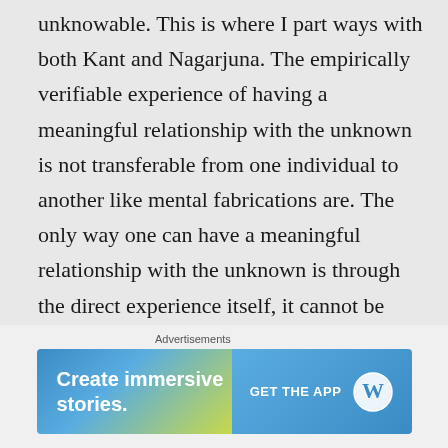unknowable. This is where I part ways with both Kant and Nagarjuna. The empirically verifiable experience of having a meaningful relationship with the unknown is not transferable from one individual to another like mental fabrications are. The only way one can have a meaningful relationship with the unknown is through the direct experience itself, it cannot be transferred nor shared.
[Figure (screenshot): Advertisement banner for WordPress app: 'Create immersive stories. GET THE APP' with WordPress logo on blue-green gradient background]